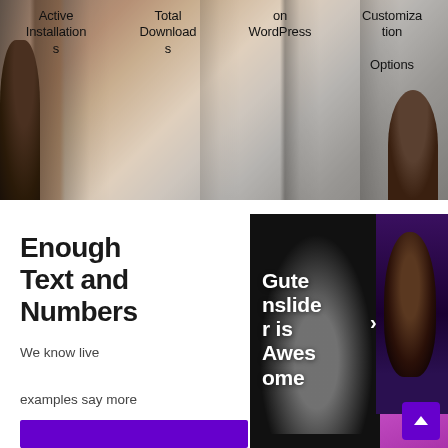[Figure (photo): Hero background image with dark vertical bars resembling bookshelves/bars, with two human figure silhouettes on left and right edges. Four text columns overlay the image with labels: 'Active Installations', 'Total Downloads', 'on WordPress', 'Customization Options'.]
Active Installations
Total Downloads
on WordPress
Customization Options
Enough Text and Numbers
We know live examples say more than 1000 words.
[Figure (screenshot): Composite image panel showing a slider widget: left portion has black background with ballerina dancer silhouette in gray/white, overlaid with bold white text reading 'Gutenberg slide r is Awesome'; right portion shows a face with purple/magenta neon lighting. An arrow chevron appears on the right edge. A purple back-to-top button with upward chevron is at bottom-right.]